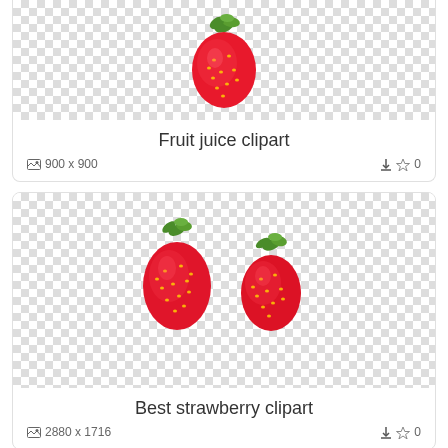[Figure (illustration): Single red strawberry clipart on checkered transparent background]
Fruit juice clipart
900 x 900   ↓ ☆ 0
[Figure (illustration): Three red strawberries clipart on checkered transparent background]
Best strawberry clipart
2880 x 1716   ↓ ☆ 0
[Figure (illustration): Two red strawberries clipart on checkered transparent background, partially visible]